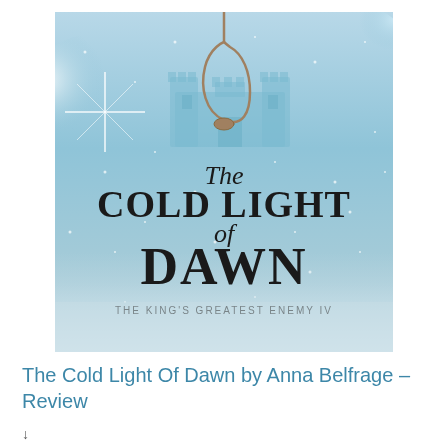[Figure (illustration): Book cover of 'The Cold Light of Dawn' by Anna Belfrage, showing a noose hanging over a misty castle in a blue-toned wintry scene. Text on cover: 'The Cold Light of Dawn', 'The King's Greatest Enemy IV'.]
The Cold Light Of Dawn by Anna Belfrage – Review